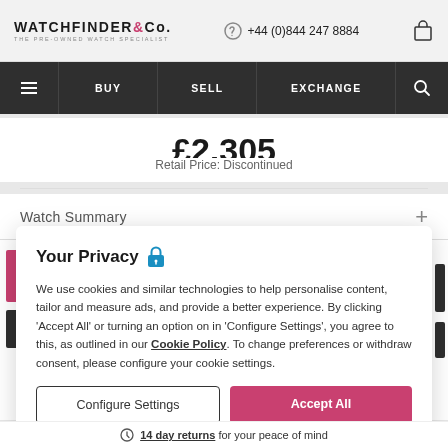WATCHFINDER &Co. THE PRE-OWNED WATCH SPECIALIST  +44 (0)844 247 8884
BUY  SELL  EXCHANGE
£2,305
Retail Price: Discontinued
Watch Summary  +
Your Privacy 🔒
We use cookies and similar technologies to help personalise content, tailor and measure ads, and provide a better experience. By clicking 'Accept All' or turning an option on in 'Configure Settings', you agree to this, as outlined in our Cookie Policy. To change preferences or withdraw consent, please configure your cookie settings.
Configure Settings
Accept All
14 day returns for your peace of mind